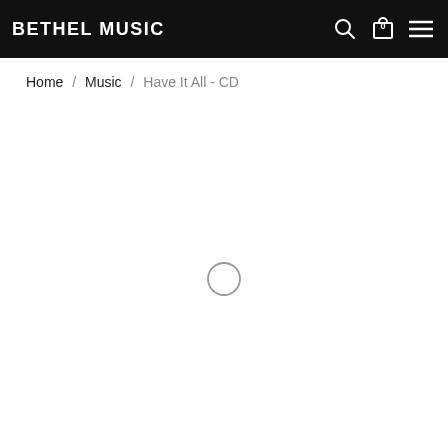BETHEL MUSIC
Home / Music / Have It All - CD
[Figure (other): Loading spinner — a thin circular ring indicating page content is loading]